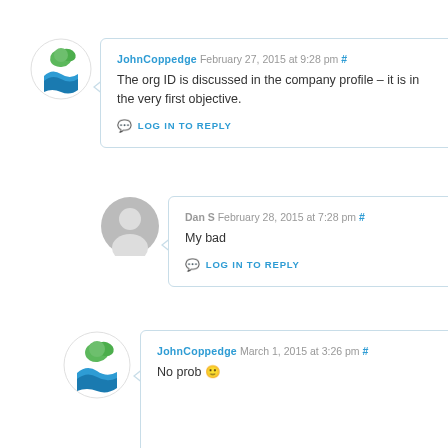[Figure (illustration): JohnCoppedge avatar logo - green and blue leaf/person icon]
JohnCoppedge February 27, 2015 at 9:28 pm #
The org ID is discussed in the company profile – it is in the very first objective.
LOG IN TO REPLY
[Figure (illustration): Dan S avatar - grey placeholder person silhouette]
Dan S February 28, 2015 at 7:28 pm #
My bad
LOG IN TO REPLY
[Figure (illustration): JohnCoppedge avatar logo - green and blue leaf/person icon]
JohnCoppedge March 1, 2015 at 3:26 pm #
No prob 🙂